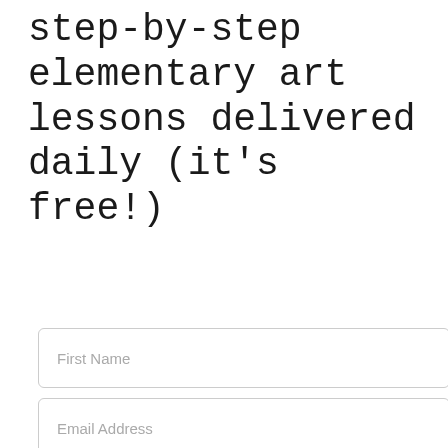step-by-step elementary art lessons delivered daily (it's free!)
First Name
Email Address
STOP THE SUNDAY SEARCH
[Figure (screenshot): Advertisement banner with ice cream truck image on left and 'SIMPLER' text on dark background on right, with navigation arrow icon in top right corner]
Wha